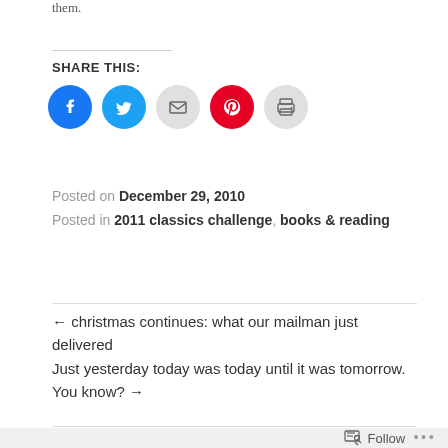them.
SHARE THIS:
[Figure (infographic): Social sharing icons: Facebook (blue circle), Twitter (blue circle), Email (grey circle), Pinterest (red circle), Print (grey circle)]
Posted on December 29, 2010
Posted in 2011 classics challenge, books & reading
← christmas continues: what our mailman just delivered
Just yesterday today was today until it was tomorrow. You know? →
Follow ...